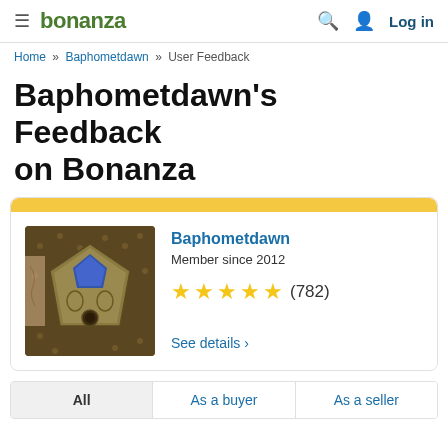bonanza — Log in
Home » Baphometdawn » User Feedback
Baphometdawn's Feedback on Bonanza
[Figure (photo): Profile card with yellow banner, photo of a decorative metal pendant/jewelry piece with blue stone, and user info showing Baphometdawn, Member since 2012, 5 stars (782), See details link]
Baphometdawn
Member since 2012
★★★★★ (782)
See details >
All | As a buyer | As a seller